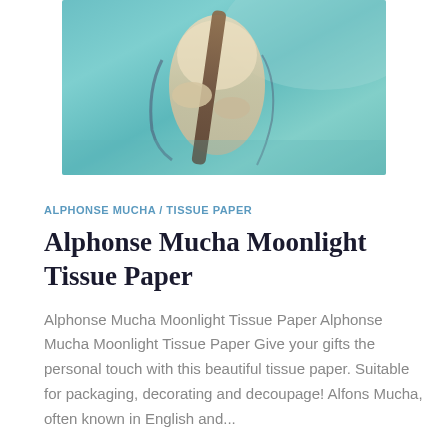[Figure (illustration): Alphonse Mucha art nouveau illustration showing a figure with hands holding a branch or staff against a teal/turquoise background]
ALPHONSE MUCHA / TISSUE PAPER
Alphonse Mucha Moonlight Tissue Paper
Alphonse Mucha Moonlight Tissue Paper Alphonse Mucha Moonlight Tissue Paper Give your gifts the personal touch with this beautiful tissue paper. Suitable for packaging, decorating and decoupage! Alfons Mucha, often known in English and...